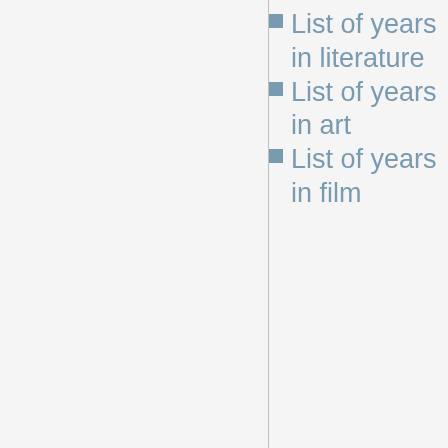List of years in literature
List of years in art
List of years in film